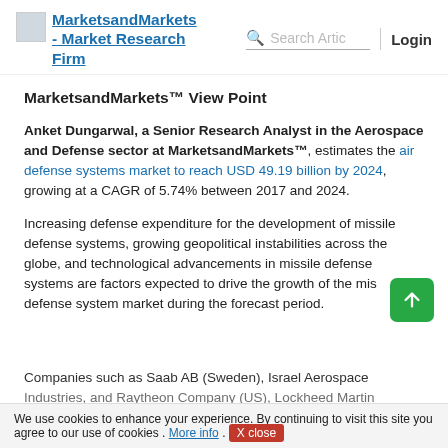MarketsandMarkets - Market Research Firm | Search Articles | Login
MarketsandMarkets™ View Point
Anket Dungarwal, a Senior Research Analyst in the Aerospace and Defense sector at MarketsandMarkets™, estimates the air defense systems market to reach USD 49.19 billion by 2024, growing at a CAGR of 5.74% between 2017 and 2024.
Increasing defense expenditure for the development of missile defense systems, growing geopolitical instabilities across the globe, and technological advancements in missile defense systems are factors expected to drive the growth of the missile defense system market during the forecast period.
Companies such as Saab AB (Sweden), Israel Aerospace Industries, and Raytheon Company (US), Lockheed Martin Corporation (US), Boeing company (US)...
We use cookies to enhance your experience. By continuing to visit this site you agree to our use of cookies . More info . X close